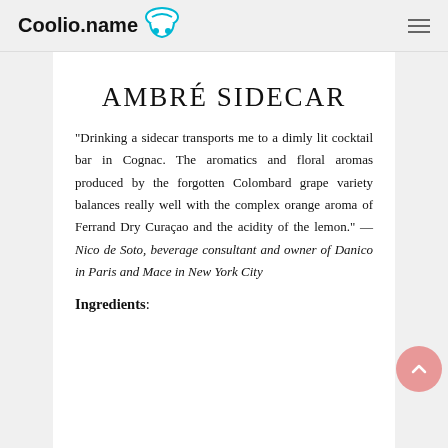Coolio.name
AMBRÉ SIDECAR
“Drinking a sidecar transports me to a dimly lit cocktail bar in Cognac. The aromatics and floral aromas produced by the forgotten Colombard grape variety balances really well with the complex orange aroma of Ferrand Dry Curaçao and the acidity of the lemon.” —Nico de Soto, beverage consultant and owner of Danico in Paris and Mace in New York City
Ingredients: